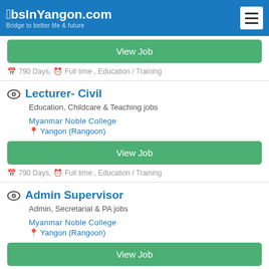JobsInYangon.com – Bridge to better life & future
View Job
790 Days, Full time , Education / Training
Lecturer- Civil
Education, Childcare & Teaching jobs
Myanmar Noble College
Yangon (Rangoon)
View Job
790 Days, Full time , Education / Training
Admin Supervisor
Admin, Secretarial & PA jobs
Myanmar Noble College
Yangon (Rangoon)
View Job
791 Days, Full time , Education / Training